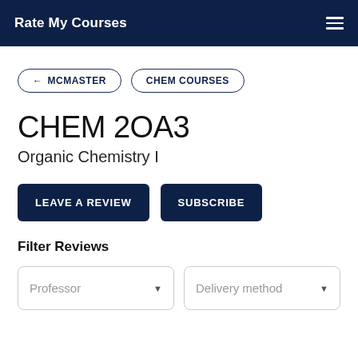Rate My Courses
← MCMASTER
CHEM COURSES
CHEM 2OA3
Organic Chemistry I
LEAVE A REVIEW
SUBSCRIBE
Filter Reviews
Professor
Delivery method